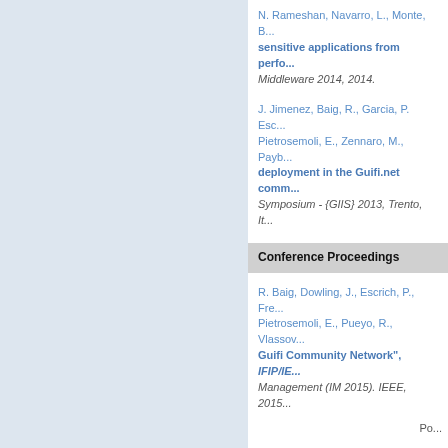N. Rameshan, Navarro, L., Monte, B... sensitive applications from perfo... Middleware 2014, 2014.
J. Jimenez, Baig, R., Garcia, P. Esc... Pietrosemoli, E., Zennaro, M., Payb... deployment in the Guifi.net comm... Symposium - {GIIS} 2013, Trento, It...
Conference Proceedings
R. Baig, Dowling, J., Escrich, P., Fre... Pietrosemoli, E., Pueyo, R., Vlassov... Guifi Community Network", IFIP/IE... Management (IM 2015). IEEE, 2015...
Po...